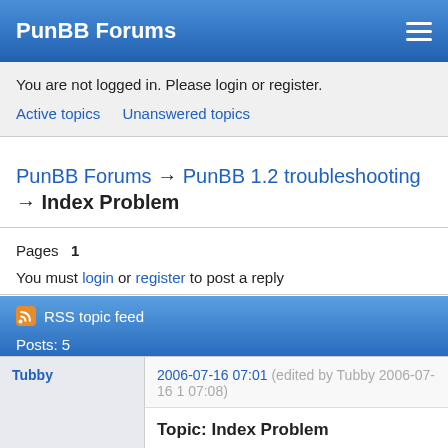PunBB Forums
You are not logged in. Please login or register.
Active topics   Unanswered topics
PunBB Forums → PunBB 1.2 troubleshooting → Index Problem
Pages  1
You must login or register to post a reply
RSS topic feed
Posts: 5
Tubby
2006-07-16 07:01 (edited by Tubby 2006-07-16 1 07:08)
Topic: Index Problem